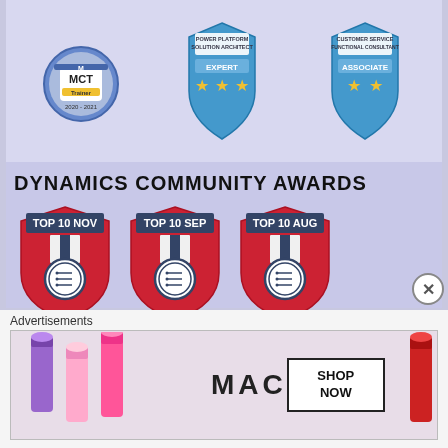[Figure (illustration): Three certification badges: MCT Trainer 2020-2021 (circular blue/gold badge), Power Platform Solution Architect Expert (blue shield with stars), Customer Service Functional Consultant Associate (blue shield with stars)]
DYNAMICS COMMUNITY AWARDS
[Figure (illustration): Five Dynamics Community Award shields: TOP 10 NOV, TOP 10 SEP, TOP 10 AUG (top row), TOP 10 JUL, TOP 10 MAR (bottom row) - red shield badges with medal icon]
Advertisements
[Figure (illustration): MAC cosmetics advertisement showing lipsticks in purple, pink and red colors with MAC logo and SHOP NOW button]